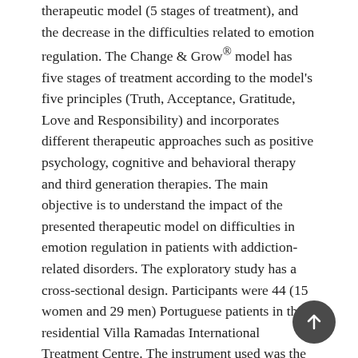therapeutic model (5 stages of treatment), and the decrease in the difficulties related to emotion regulation. The Change & Grow® model has five stages of treatment according to the model's five principles (Truth, Acceptance, Gratitude, Love and Responsibility) and incorporates different therapeutic approaches such as positive psychology, cognitive and behavioral therapy and third generation therapies. The main objective is to understand the impact of the presented therapeutic model on difficulties in emotion regulation in patients with addiction-related disorders. The exploratory study has a cross-sectional design. Participants were 44 (15 women and 29 men) Portuguese patients in the residential Villa Ramadas International Treatment Centre. The instrument used was the Portuguese version of the Difficulties in Emotion Regulation Scale (DERS), which measures six dimensions of emotion regulation (Strategies, Non-